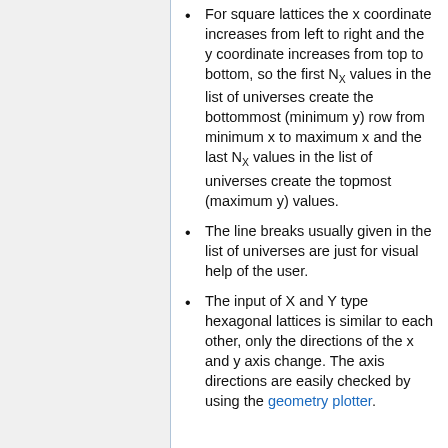For square lattices the x coordinate increases from left to right and the y coordinate increases from top to bottom, so the first N_X values in the list of universes create the bottommost (minimum y) row from minimum x to maximum x and the last N_X values in the list of universes create the topmost (maximum y) values.
The line breaks usually given in the list of universes are just for visual help of the user.
The input of X and Y type hexagonal lattices is similar to each other, only the directions of the x and y axis change. The axis directions are easily checked by using the geometry plotter.